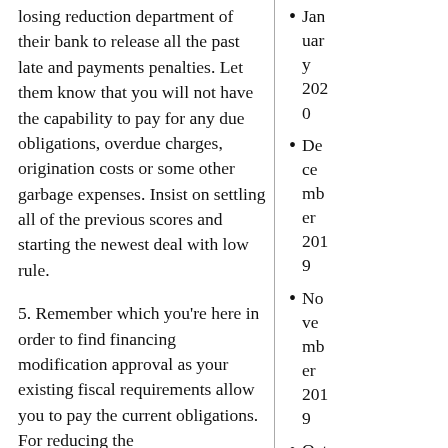losing reduction department of their bank to release all the past late and payments penalties. Let them know that you will not have the capability to pay for any due obligations, overdue charges, origination costs or some other garbage expenses. Insist on settling all of the previous scores and starting the newest deal with low rule.
5. Remember which you're here in order to find financing modification approval as your existing fiscal requirements allow you to pay the current obligations. For reducing the
January 2020
December 2019
November 2019
Oct